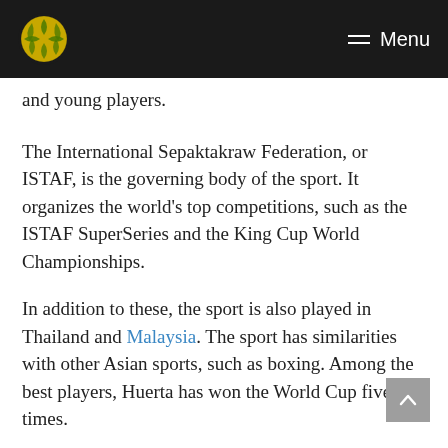Menu
and young players.
The International Sepaktakraw Federation, or ISTAF, is the governing body of the sport. It organizes the world's top competitions, such as the ISTAF SuperSeries and the King Cup World Championships.
In addition to these, the sport is also played in Thailand and Malaysia. The sport has similarities with other Asian sports, such as boxing. Among the best players, Huerta has won the World Cup five times.
The Philippines has a strong team of Sepak